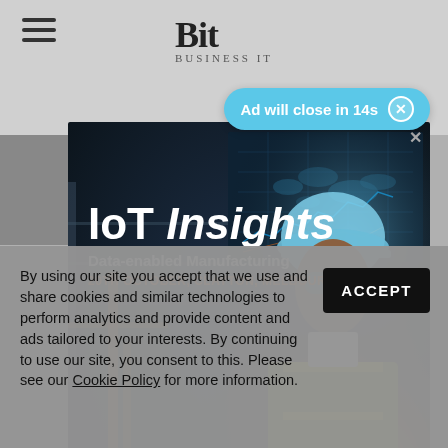Bit Business IT
Ad will close in 14s
[Figure (photo): IoT Insights advertisement showing a woman in a hard hat and hi-vis vest in an industrial facility with digital overlays. Text reads: IoT Insights - Data-enabled Manufacturing - 20TH OCTOBER, CLAYTON, MELBOURNE]
By using our site you accept that we use and share cookies and similar technologies to perform analytics and provide content and ads tailored to your interests. By continuing to use our site, you consent to this. Please see our Cookie Policy for more information.